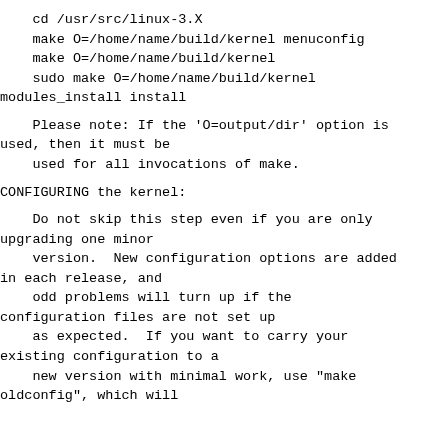cd /usr/src/linux-3.X
    make O=/home/name/build/kernel menuconfig
    make O=/home/name/build/kernel
    sudo make O=/home/name/build/kernel modules_install install
Please note: If the 'O=output/dir' option is used, then it must be
    used for all invocations of make.
CONFIGURING the kernel:
Do not skip this step even if you are only upgrading one minor
    version.  New configuration options are added in each release, and
    odd problems will turn up if the configuration files are not set up
    as expected.  If you want to carry your existing configuration to a
    new version with minimal work, use "make oldconfig", which will